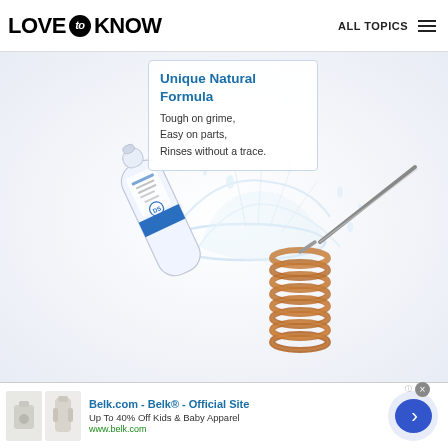LOVE to KNOW  ALL TOPICS
[Figure (photo): Product advertisement image for a descaling solution bottle with water splash and a copper coil heating element on a light background, with a text overlay box reading 'Unique Natural Formula — Tough on grime, Easy on parts, Rinses without a trace.']
Unique Natural Formula
Tough on grime,
Easy on parts,
Rinses without a trace.
[Figure (photo): Advertisement banner for Belk.com — Belk® Official Site. Up To 40% Off Kids & Baby Apparel. www.belk.com. Shows two small clothing item thumbnails and a blue arrow button.]